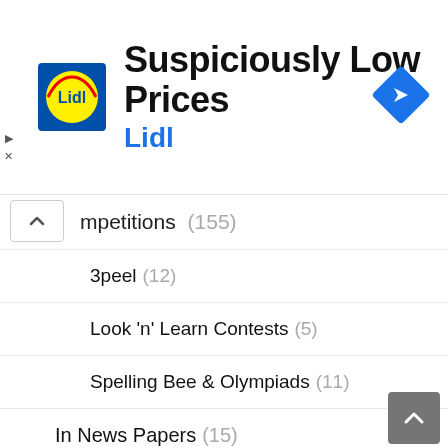[Figure (screenshot): Lidl advertisement banner: Lidl logo, title 'Suspiciously Low Prices', subtitle 'Lidl', blue diamond arrow icon on right, ad controls on left]
mpetitions (155)
3peel (12)
Look 'n' Learn Contests (5)
Spelling Bee & Olympiads (11)
In News Papers (15)
Kids Crafts (14)
Meghna's Kitchen (3)
Photos (17)
School Projects (44)
Uncategorized (9)